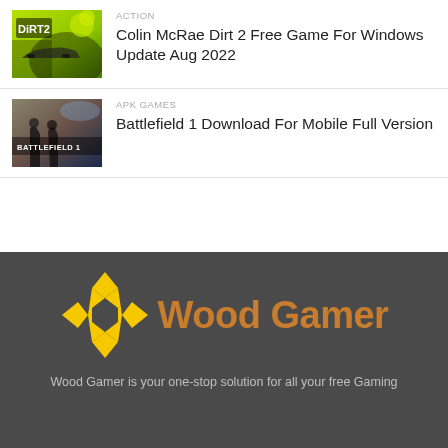[Figure (photo): Colin McRae Dirt 2 game cover thumbnail - green background with car]
ACTION
Colin McRae Dirt 2 Free Game For Windows Update Aug 2022
[Figure (photo): Battlefield 1 game cover thumbnail with soldiers and text BATTLEFIELD 1]
APK GAMES
Battlefield 1 Download For Mobile Full Version
[Figure (logo): Wood Gamer logo - yellow gamepad cross icon with orange-brown text 'Wood Gamer']
Wood Gamer is your one-stop solution for all your free Gaming